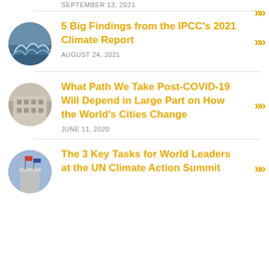SEPTEMBER 13, 2021
5 Big Findings from the IPCC's 2021 Climate Report
AUGUST 24, 2021
What Path We Take Post-COVID-19 Will Depend in Large Part on How the World's Cities Change
JUNE 11, 2020
The 3 Key Tasks for World Leaders at the UN Climate Action Summit